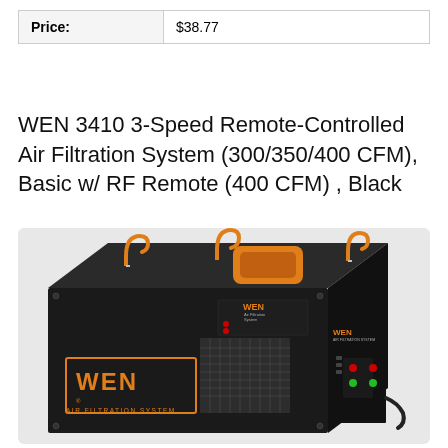| Price: | $38.77 |
| --- | --- |
WEN 3410 3-Speed Remote-Controlled Air Filtration System (300/350/400 CFM), Basic w/ RF Remote (400 CFM) , Black
[Figure (photo): WEN 3410 Air Filtration System — a black box-shaped air filtration unit with three orange hanging hooks on top, an orange remote control on top, WEN branding in orange on the front and side, a mesh vent on the front, and a control panel with red and green indicator lights on the right side.]